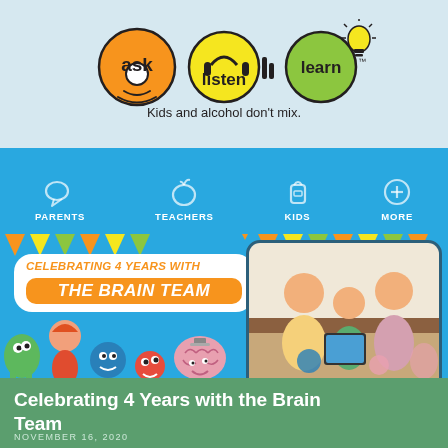[Figure (logo): Ask Listen Learn logo with three colored circles (orange 'ask', yellow 'listen', green 'learn') and tagline 'Kids and alcohol don't mix.']
[Figure (screenshot): Website navigation bar with blue background showing icons and links: PARENTS, TEACHERS, KIDS, MORE]
[Figure (illustration): Banner celebrating 4 Years with the Brain Team, featuring cartoon brain characters and a photo of a family using a tablet]
Celebrating 4 Years with the Brain Team
NOVEMBER 16, 2020